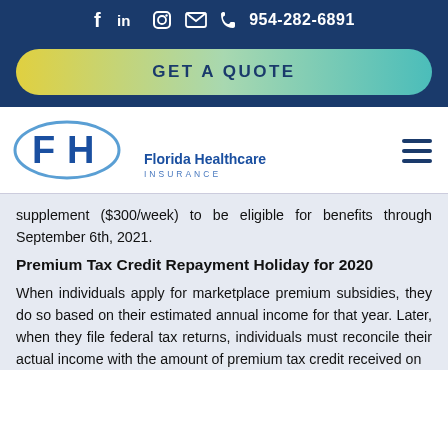f  in  ○  ✉  ✆ 954-282-6891
[Figure (other): GET A QUOTE button with yellow-to-teal gradient on dark blue background]
[Figure (logo): Florida Healthcare Insurance logo with FH letters in blue ellipse]
supplement ($300/week) to be eligible for benefits through September 6th, 2021.
Premium Tax Credit Repayment Holiday for 2020
When individuals apply for marketplace premium subsidies, they do so based on their estimated annual income for that year. Later, when they file federal tax returns, individuals must reconcile their actual income with the amount of premium tax credit received on